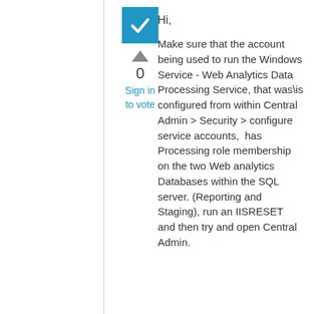[Figure (other): Blue checkbox icon with white checkmark]
0
Sign in to vote
Hi,
Make sure that the account being used to run the Windows Service - Web Analytics Data Processing Service, that was\is configured from within Central Admin > Security > configure service accounts,  has Processing role membership on the two Web analytics Databases within the SQL server. (Reporting and Staging), run an IISRESET and then try and open Central Admin.